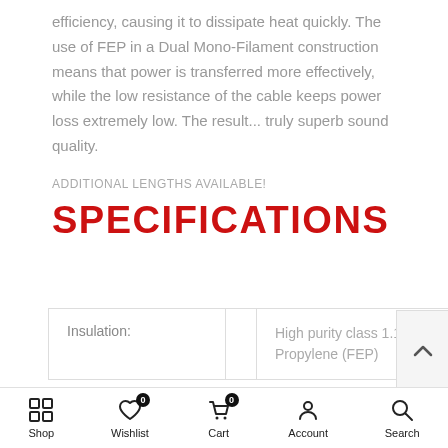efficiency, causing it to dissipate heat quickly. The use of FEP in a Dual Mono-Filament construction means that power is transferred more effectively, while the low resistance of the cable keeps power loss extremely low. The result... truly superb sound quality.
ADDITIONAL LENGTHS AVAILABLE!
SPECIFICATIONS
| Insulation: |  | High purity class 1.1 extruded Fluorinated Ethylene Propylene (FEP) |
| --- | --- | --- |
| Insulation: |  | High purity class 1.1 extruded Fluorinated Ethylene Propylene (FEP) |